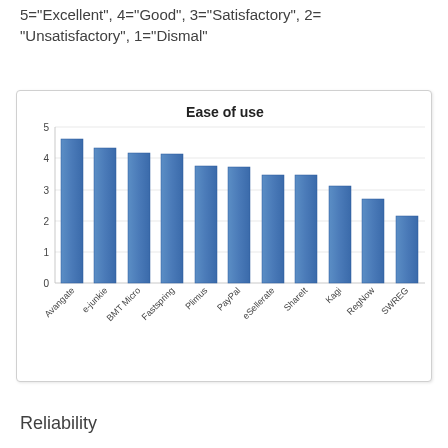5="Excellent", 4="Good", 3="Satisfactory", 2="Unsatisfactory", 1="Dismal"
[Figure (bar-chart): Ease of use]
Reliability